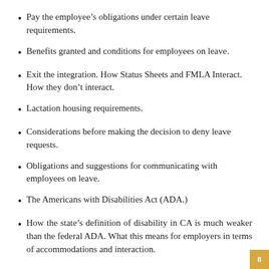Pay the employee's obligations under certain leave requirements.
Benefits granted and conditions for employees on leave.
Exit the integration. How Status Sheets and FMLA Interact. How they don't interact.
Lactation housing requirements.
Considerations before making the decision to deny leave requests.
Obligations and suggestions for communicating with employees on leave.
The Americans with Disabilities Act (ADA.)
How the state's definition of disability in CA is much weaker than the federal ADA. What this means for employers in terms of accommodations and interaction.